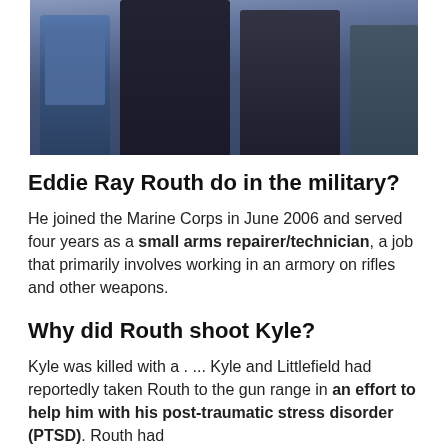[Figure (photo): Photo of Eddie Ray Routh in a courtroom or official setting, showing men in suits and blue uniforms in the background.]
Eddie Ray Routh do in the military?
He joined the Marine Corps in June 2006 and served four years as a small arms repairer/technician, a job that primarily involves working in an armory on rifles and other weapons.
Why did Routh shoot Kyle?
Kyle was killed with a . ... Kyle and Littlefield had reportedly taken Routh to the gun range in an effort to help him with his post-traumatic stress disorder (PTSD). Routh had